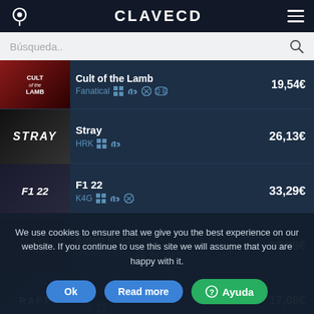CLAVECD
Búsqueda..
Cult of the Lamb — Fanatical — 19,54€
Stray — HRK — 26,13€
F1 22 — K4G — 33,29€
Elden Ring — GamesForPlay — 38,99€
Raft — HRK — 17,08€
Red Dead Redemption 2 — 18,77€
We use cookies to ensure that we give you the best experience on our website. If you continue to use this site we will assume that you are happy with it.
Ok  Read more  Ayuda